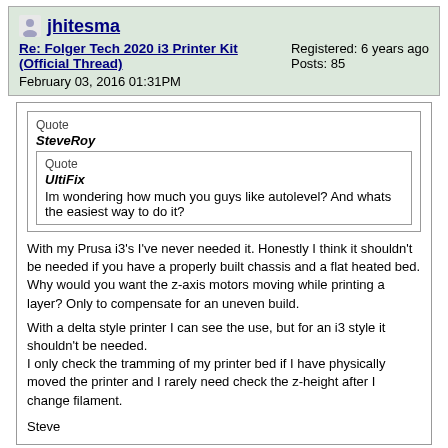jhitesma
Re: Folger Tech 2020 i3 Printer Kit (Official Thread)
February 03, 2016 01:31PM
Registered: 6 years ago
Posts: 85
Quote
SteveRoy
Quote
UltiFix
Im wondering how much you guys like autolevel? And whats the easiest way to do it?
With my Prusa i3's I've never needed it. Honestly I think it shouldn't be needed if you have a properly built chassis and a flat heated bed.
Why would you want the z-axis motors moving while printing a layer? Only to compensate for an uneven build.

With a delta style printer I can see the use, but for an i3 style it shouldn't be needed.
I only check the tramming of my printer bed if I have physically moved the printer and I rarely need check the z-height after I change filament.

Steve
Personally I'm loving autolevel. I tossed in the